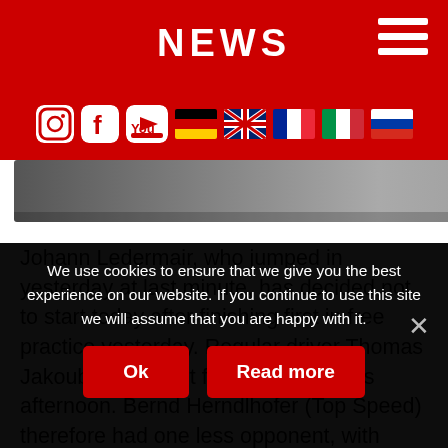NEWS
[Figure (screenshot): Red header bar with NEWS title, hamburger menu icon, and social/flag navigation bar with Instagram, Facebook, YouTube icons and German, UK, French, Italian, Russian flags]
[Figure (photo): Partial view of a racing-related photograph strip]
Johann Ledermair, who jumped in yesterday at last minute, has decided not to start today after finishing first in free practice yesterday. Regular driver Thomas Jakoubek will start for Top Speed this afternoon. Bernd Herndlhofer (Top Speed) therefore had one less opponent, with 1:29.382 he was the fastest GP2 driver in his class.
We use cookies to ensure that we give you the best experience on our website. If you continue to use this site we will assume that you are happy with it.